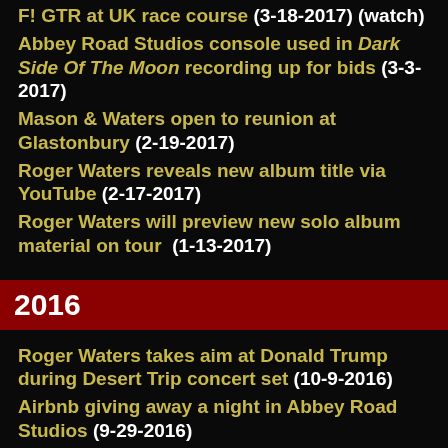F! GTR at UK race course (3-18-2017) (watch)
Abbey Road Studios console used in Dark Side Of The Moon recording up for bids (3-3-2017)
Mason & Waters open to reunion at Glastonbury (2-19-2017)
Roger Waters reveals new album title via YouTube (2-17-2017)
Roger Waters will preview new solo album material on tour (1-13-2017)
2016
Roger Waters takes aim at Donald Trump during Desert Trip concert set (10-9-2016)
Airbnb giving away a night in Abbey Road Studios (9-29-2016)
Pink Floyd's Britannai Row studio to become